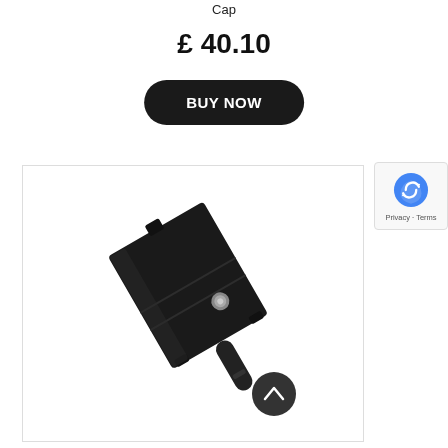Cap
£ 40.10
BUY NOW
[Figure (photo): A black electronic device (appears to be a vape or similar hardware component) photographed at an angle on a white background, showing a rectangular black body with a small metallic button and a protruding black cylindrical element at the bottom.]
[Figure (other): reCAPTCHA badge with Google reCAPTCHA logo and 'Privacy - Terms' text]